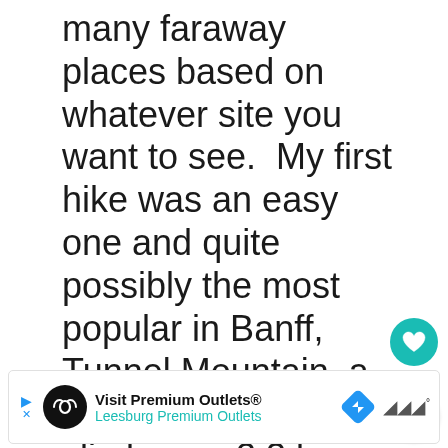many faraway places based on whatever site you want to see.  My first hike was an easy one and quite possibly the most popular in Banff, Tunnel Mountain, a 250m elevation climb on a 2.3 km one way trek.
[Figure (infographic): Social media sidebar UI with heart/like button (teal circle, heart icon), count of 30, and share button (white circle with share icon)]
[Figure (screenshot): WHAT'S NEXT arrow label in teal, thumbnail photo, text 'One Big Shock at La...']
[Figure (infographic): Advertisement bar: play/skip controls, black circle logo with infinity symbol, 'Visit Premium Outlets® Leesburg Premium Outlets', blue diamond navigation icon, Waze-like weather icon]